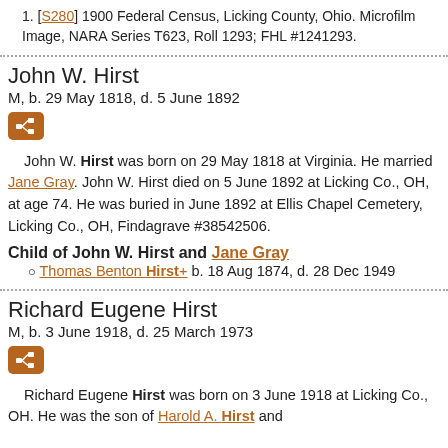[S280] 1900 Federal Census, Licking County, Ohio. Microfilm Image, NARA Series T623, Roll 1293; FHL #1241293.
John W. Hirst
M, b. 29 May 1818, d. 5 June 1892
[Figure (other): Pedigree/family tree icon button (orange square with family tree symbol)]
John W. Hirst was born on 29 May 1818 at Virginia. He married Jane Gray. John W. Hirst died on 5 June 1892 at Licking Co., OH, at age 74. He was buried in June 1892 at Ellis Chapel Cemetery, Licking Co., OH, Findagrave #38542506.
Child of John W. Hirst and Jane Gray
Thomas Benton Hirst+ b. 18 Aug 1874, d. 28 Dec 1949
Richard Eugene Hirst
M, b. 3 June 1918, d. 25 March 1973
[Figure (other): Pedigree/family tree icon button (orange square with family tree symbol)]
Richard Eugene Hirst was born on 3 June 1918 at Licking Co., OH. He was the son of Harold A. Hirst and